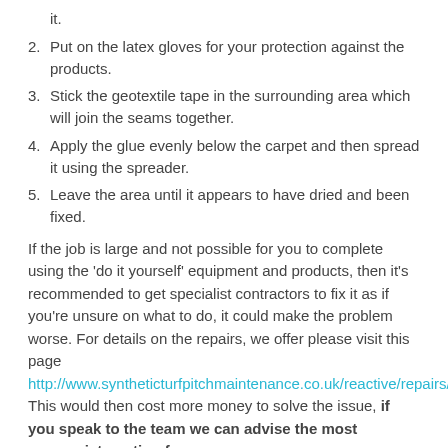it.
Put on the latex gloves for your protection against the products.
Stick the geotextile tape in the surrounding area which will join the seams together.
Apply the glue evenly below the carpet and then spread it using the spreader.
Leave the area until it appears to have dried and been fixed.
If the job is large and not possible for you to complete using the 'do it yourself' equipment and products, then it's recommended to get specialist contractors to fix it as if you're unsure on what to do, it could make the problem worse. For details on the repairs, we offer please visit this page http://www.syntheticturfpitchmaintenance.co.uk/reactive/repairs/moray This would then cost more money to solve the issue, if you speak to the team we can advise the most appropriate option for you.
Sports Pitch Maintenance
When carrying out sports pitch maintenance in Bogmoor IV32 7 it is important that you use specialist tools and equipment in order in